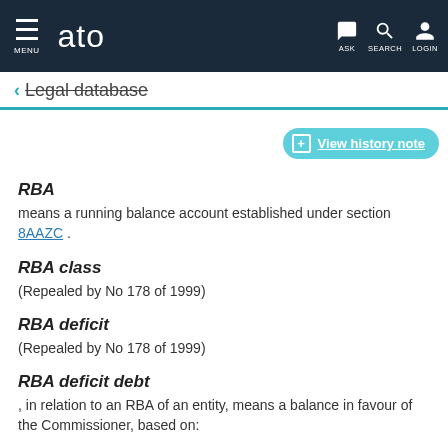MENU  ato  ASK  SEARCH  LOGIN
← Legal database
+ View history note
RBA
means a running balance account established under section 8AAZC .
RBA class
(Repealed by No 178 of 1999)
RBA deficit
(Repealed by No 178 of 1999)
RBA deficit debt
, in relation to an RBA of an entity, means a balance in favour of the Commissioner, based on: